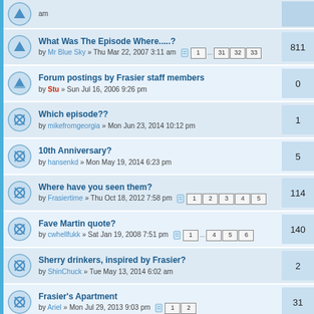What Was The Episode Where.....? by Mr Blue Sky » Thu Mar 22, 2007 3:11 am | pages 1...31 32 33 | replies: 811
Forum postings by Frasier staff members by Stu » Sun Jul 16, 2006 9:26 pm | replies: 0
Which episode?? by mikefromgeorgia » Mon Jun 23, 2014 10:12 pm | replies: 1
10th Anniversary? by hansenkd » Mon May 19, 2014 6:23 pm | replies: 5
Where have you seen them? by Frasiertime » Thu Oct 18, 2012 7:58 pm | pages 1 2 3 4 5 | replies: 114
Fave Martin quote? by cwhellfukk » Sat Jan 19, 2008 7:51 pm | pages 1...4 5 6 | replies: 140
Sherry drinkers, inspired by Frasier? by ShinChuck » Tue May 13, 2014 6:02 am | replies: 2
Frasier's Apartment by Ariel » Mon Jul 29, 2013 9:03 pm | pages 1 2 | replies: 31
The Gay Trilogy by Allystare » Wed May 14, 2014 5:31 pm | replies: 5
frasier and his piano teacher by frasier floyd » Fri Feb 28, 2014 5:40 pm | replies: 7
Why did Martin date Sherry? by crystal_blue0619 » Sat Apr 19, 2014 9:03 pm | replies: 7